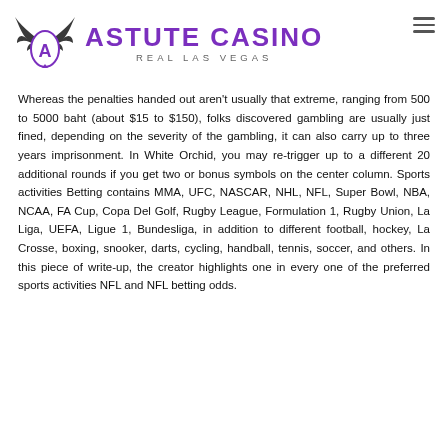ASTUTE CASINO REAL LAS VEGAS
Whereas the penalties handed out aren't usually that extreme, ranging from 500 to 5000 baht (about $15 to $150), folks discovered gambling are usually just fined, depending on the severity of the gambling, it can also carry up to three years imprisonment. In White Orchid, you may re-trigger up to a different 20 additional rounds if you get two or bonus symbols on the center column. Sports activities Betting contains MMA, UFC, NASCAR, NHL, NFL, Super Bowl, NBA, NCAA, FA Cup, Copa Del Golf, Rugby League, Formulation 1, Rugby Union, La Liga, UEFA, Ligue 1, Bundesliga, in addition to different football, hockey, La Crosse, boxing, snooker, darts, cycling, handball, tennis, soccer, and others. In this piece of write-up, the creator highlights one in every one of the preferred sports activities NFL and NFL betting odds.